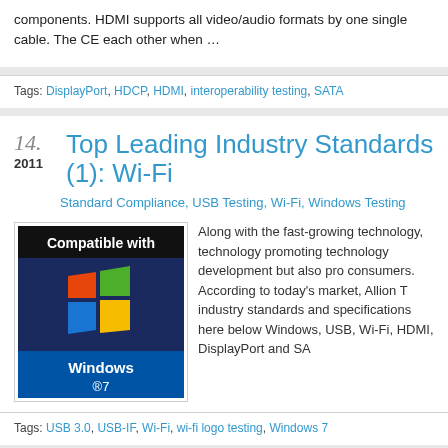components. HDMI supports all video/audio formats by one single cable. The CE each other when …
Tags: DisplayPort, HDCP, HDMI, interoperability testing, SATA
Top Leading Industry Standards (1): Wi-Fi
2011
Standard Compliance, USB Testing, Wi-Fi, Windows Testing
[Figure (photo): Compatible with Windows 7 logo badge showing Windows flag logo on dark blue background]
Along with the fast-growing technology, technology promoting technology development but also pro consumers. According to today's market, Allion T industry standards and specifications here below Windows, USB, Wi-Fi, HDMI, DisplayPort and SA
Tags: USB 3.0, USB-IF, Wi-Fi, wi-fi logo testing, Windows 7